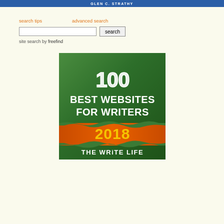GLEN C. STRATHY
search tips    advanced search
site search by freefind
[Figure (illustration): Badge graphic: '100 Best Websites For Writers 2018 – The Write Life' on green and orange background]